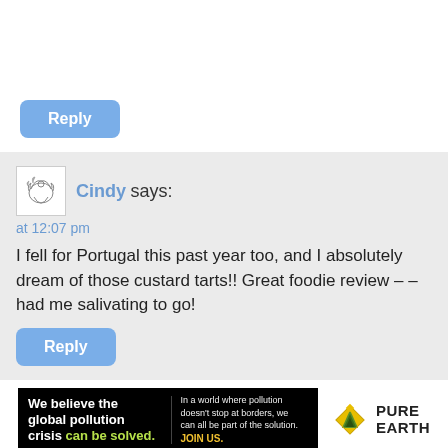[Figure (screenshot): Reply button (blue rounded rectangle) in white section]
Cindy says:
at 12:07 pm
I fell for Portugal this past year too, and I absolutely dream of those custard tarts!! Great foodie review – – had me salivating to go!
[Figure (screenshot): Reply button (blue rounded rectangle) in gray comment section]
[Figure (infographic): Pure Earth advertisement banner: 'We believe the global pollution crisis can be solved.' with logo]